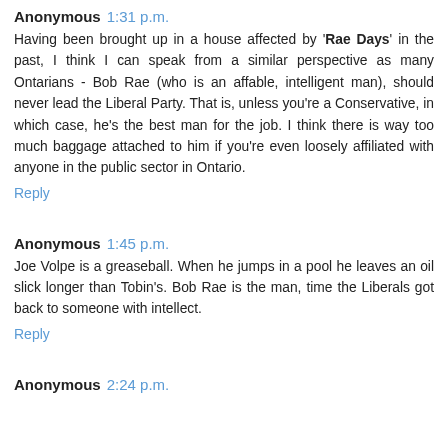Anonymous 1:31 p.m.
Having been brought up in a house affected by 'Rae Days' in the past, I think I can speak from a similar perspective as many Ontarians - Bob Rae (who is an affable, intelligent man), should never lead the Liberal Party. That is, unless you're a Conservative, in which case, he's the best man for the job. I think there is way too much baggage attached to him if you're even loosely affiliated with anyone in the public sector in Ontario.
Reply
Anonymous 1:45 p.m.
Joe Volpe is a greaseball. When he jumps in a pool he leaves an oil slick longer than Tobin's. Bob Rae is the man, time the Liberals got back to someone with intellect.
Reply
Anonymous 2:24 p.m.